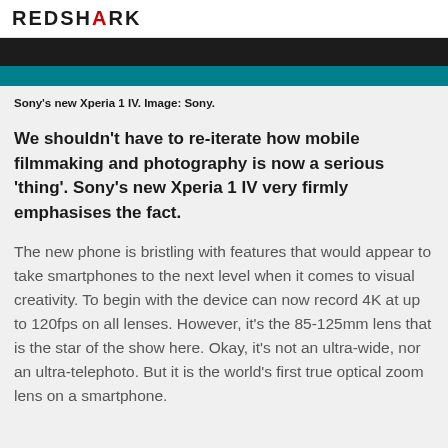REDSHARK
[Figure (photo): Dark image area showing top of Sony Xperia 1 IV with teal banner below]
Sony's new Xperia 1 IV. Image: Sony.
We shouldn't have to re-iterate how mobile filmmaking and photography is now a serious 'thing'. Sony's new Xperia 1 IV very firmly emphasises the fact.
The new phone is bristling with features that would appear to take smartphones to the next level when it comes to visual creativity. To begin with the device can now record 4K at up to 120fps on all lenses. However, it's the 85-125mm lens that is the star of the show here. Okay, it's not an ultra-wide, nor an ultra-telephoto. But it is the world's first true optical zoom lens on a smartphone.